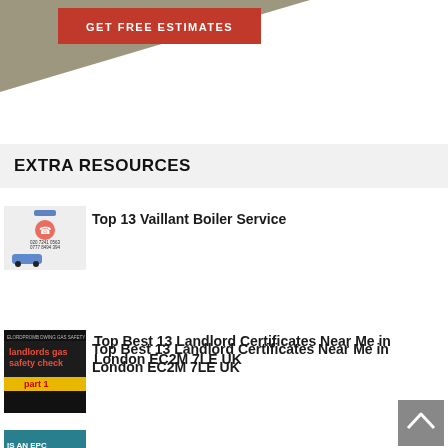[Figure (infographic): Red button with text GET FREE ESTIMATES on a beige/khaki triangle background]
EXTRA RESOURCES
[Figure (photo): Thumbnail image for Top 13 Vaillant Boiler Service article showing a plumbing/boiler service business logo with phone numbers and a blue car]
Top 13 Vaillant Boiler Service
[Figure (photo): Thumbnail showing landlords gas safety check part 1 video thumbnail with black background and red/yellow text]
Top Best 13 Landlord Certificates Near Me in London EC2M 7LE UK
[Figure (photo): Thumbnail showing a woman with glasses and text IS AN EPC TING? with EPC rating chart]
Best 20 Top Landlord Certificates in My Area Cornhill EC2R 8HH England
[Figure (photo): Thumbnail partially visible at bottom of page]
Best 7 Top-Notch Landlord Certificates Near Me